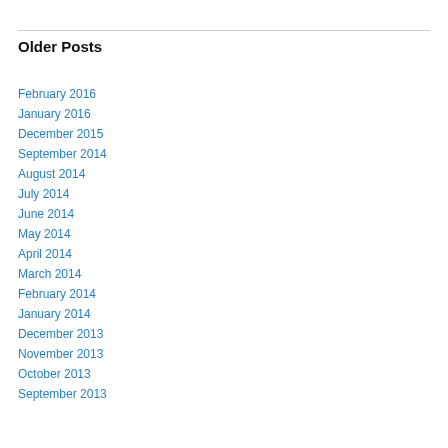Older Posts
February 2016
January 2016
December 2015
September 2014
August 2014
July 2014
June 2014
May 2014
April 2014
March 2014
February 2014
January 2014
December 2013
November 2013
October 2013
September 2013